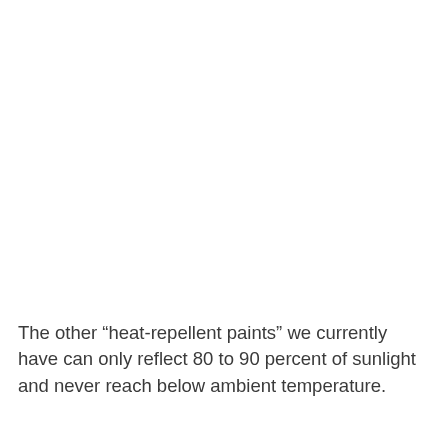The other “heat-repellent paints” we currently have can only reflect 80 to 90 percent of sunlight and never reach below ambient temperature.